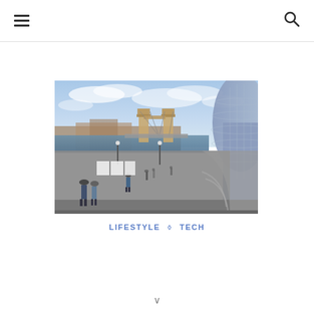☰   🔍
[Figure (photo): Photograph of the Thames riverfront near Tower Bridge in London, with the City Hall (Greater London Authority building) dome visible on the right, and people walking along the riverside promenade. Tower Bridge is visible in the background.]
LIFESTYLE ◇ TECH